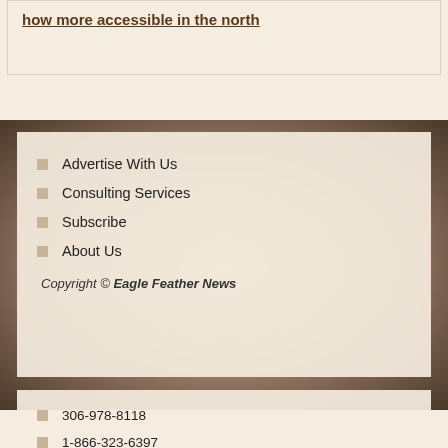how more accessible in the north
Advertise With Us
Consulting Services
Subscribe
About Us
Copyright © Eagle Feather News
306-978-8118
1-866-323-6397
contact@eaglefeathernews.com